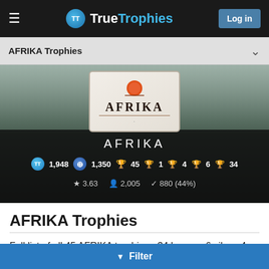TrueTrophies — Log in
AFRIKA Trophies
[Figure (screenshot): AFRIKA game hero banner showing game logo box with Afrika title, stats: TrueTrophies score 1,948, PlayStation score 1,350, 45 trophies total (1 platinum, 4 gold, 6 silver, 34 bronze), rating 3.63, 2,005 owners, 880 (44%) completion]
AFRIKA Trophies
Full list of all 45 AFRIKA trophies - 34 bronze, 6 silver, 4 gold and 1 platinum.
▼ Filter